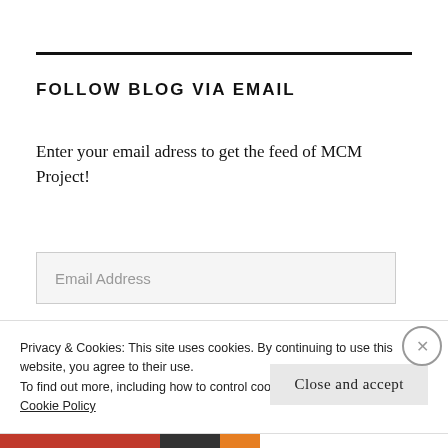FOLLOW BLOG VIA EMAIL
Enter your email adress to get the feed of MCM Project!
Email Address
Privacy & Cookies: This site uses cookies. By continuing to use this website, you agree to their use.
To find out more, including how to control cookies, see here:
Cookie Policy
Close and accept